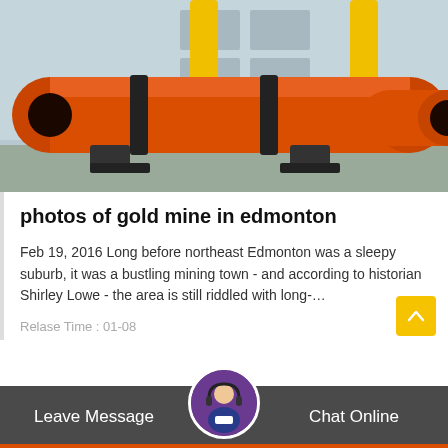[Figure (photo): Large orange industrial rotary drum/cylinder equipment lying on the ground in an outdoor factory or industrial yard. Yellow crane structure visible in background, grey industrial building behind.]
photos of gold mine in edmonton
Feb 19, 2016 Long before northeast Edmonton was a sleepy suburb, it was a bustling mining town - and according to historian Shirley Lowe - the area is still riddled with long-…
Relase Time : 01-08